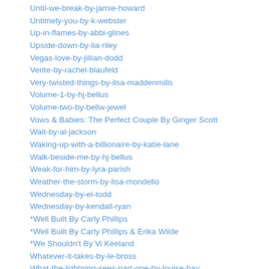Until-we-break-by-jamie-howard
Untimely-you-by-k-webster
Up-in-flames-by-abbi-glines
Upside-down-by-lia-riley
Vegas-love-by-jillian-dodd
Verite-by-rachel-blaufeld
Very-twisted-things-by-ilsa-maddenmills
Volume-1-by-hj-bellus
Volume-two-by-bellw-jewel
Vows & Babies: The Perfect Couple By Ginger Scott
Wait-by-al-jackson
Waking-up-with-a-billionaire-by-katie-lane
Walk-beside-me-by-hj-bellus
Weak-for-him-by-lyra-parish
Weather-the-storm-by-lisa-mondello
Wednesday-by-el-todd
Wednesday-by-kendall-ryan
*Well Built By Carly Phillips
*Well Built By Carly Phillips & Erika Wilde
*We Shouldn't By Vi Keeland
Whatever-it-takes-by-le-bross
What-the-lightning-sees-part-one-by-louise-bay